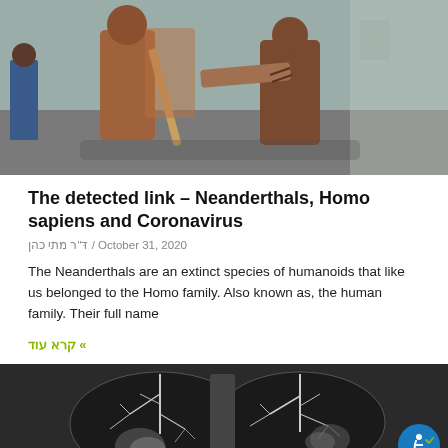[Figure (photo): Two people in primitive/prehistoric costumes holding a wooden stick or spear, appearing to be at a museum or exhibition. Background shows other visitors.]
The detected link – Neanderthals, Homo sapiens and Coronavirus
דּ"ר מתי כהן / October 31, 2020
The Neanderthals are an extinct species of humanoids that like us belonged to the Homo family. Also known as, the human family. Their full name
» קרא עוד
[Figure (photo): Grayscale CT scan image of human lungs showing bronchial tree structures, likely related to COVID-19 or pulmonary research.]